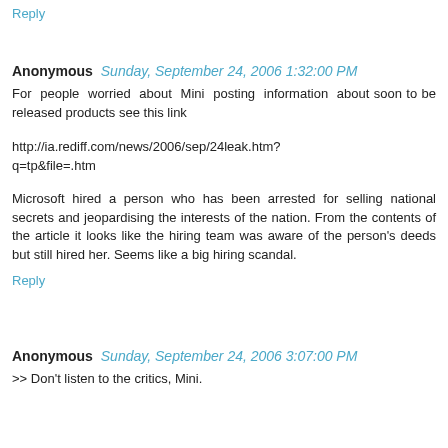Reply
Anonymous  Sunday, September 24, 2006 1:32:00 PM
For people worried about Mini posting information about soon to be released products see this link
http://ia.rediff.com/news/2006/sep/24leak.htm?q=tp&file=.htm
Microsoft hired a person who has been arrested for selling national secrets and jeopardising the interests of the nation. From the contents of the article it looks like the hiring team was aware of the person's deeds but still hired her. Seems like a big hiring scandal.
Reply
Anonymous  Sunday, September 24, 2006 3:07:00 PM
>> Don't listen to the critics, Mini.